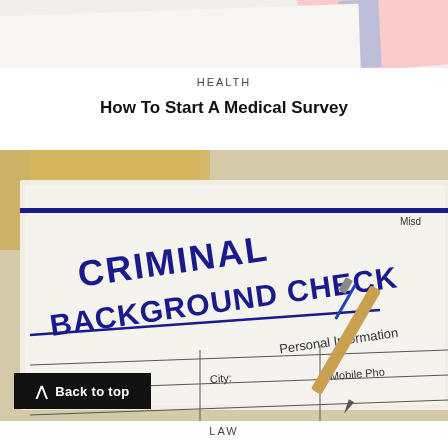[Figure (photo): Top portion of a document page showing pink and blue papers overlapping, partially visible at the top of the page]
HEALTH
How To Start A Medical Survey
[Figure (photo): Criminal Background Check form with a blue pen resting on it. The form shows 'CRIMINAL BACKGROUND CHECK' in bold blue text, with fields for Personal Information including Last Name, City, and Mobile Phone. Manila folders are visible in the background.]
LAW